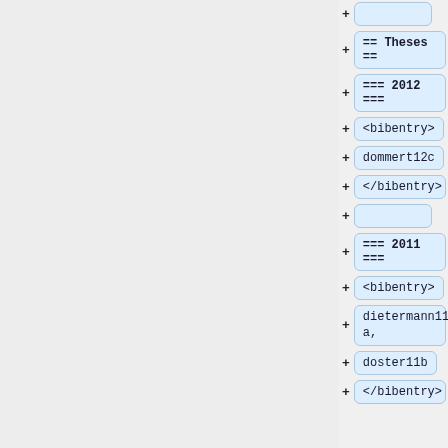[Figure (screenshot): A tree/diff view showing a list of code editor nodes with plus signs and labeled boxes. Items shown: empty box, '== Theses ==', '=== 2012 ===', '<bibentry>', 'dommert12c', '</bibentry>', empty box, '=== 2011 ===', '<bibentry>', 'dietermann11a,', 'doster11b', '</bibentry>']